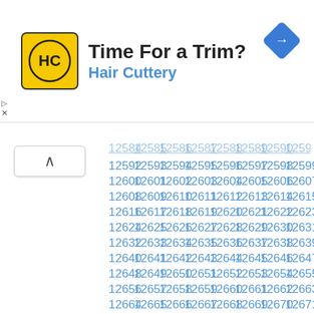[Figure (advertisement): Hair Cuttery advertisement banner with yellow logo showing HC letters, text 'Time For a Trim?' and 'Hair Cuttery' in blue, and a blue navigation arrow icon on the right]
12584 12585 12586 12587 12588 12589 12590 12591 (partial, cut off)
12592 12593 12594 12595 12596 12597 12598 12599
12600 12601 12602 12603 12604 12605 12606 12607
12608 12609 12610 12611 12612 12613 12614 12615
12616 12617 12618 12619 12620 12621 12622 12623
12624 12625 12626 12627 12628 12629 12630 12631
12632 12633 12634 12635 12636 12637 12638 12639
12640 12641 12642 12643 12644 12645 12646 12647
12648 12649 12650 12651 12652 12653 12654 12655
12656 12657 12658 12659 12660 12661 12662 12663
12664 12665 12666 12667 12668 12669 12670 12671
12672 12673 12674 12675 12676 12677 12678 12679
12680 12681 12682 12683 12684 12685 12686 12687
12688 12689 12690 12691 12692 12693 12694 12695
12696 12697 12698 12699 12700 12701 12702 12703
12704 12705 12706 12707 12708 12709 12710 12711
12712 12713 12714 12715 12716 12717 12718 12719
12720 12721 12722 12723 12724 12725 12726 12727